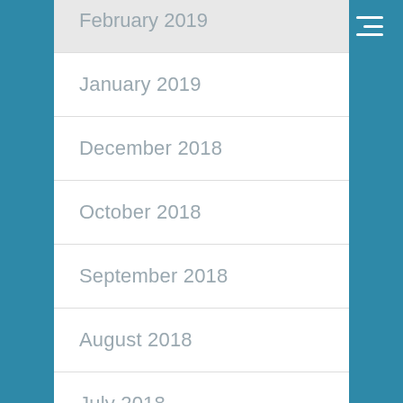February 2019
January 2019
December 2018
October 2018
September 2018
August 2018
July 2018
June 2018